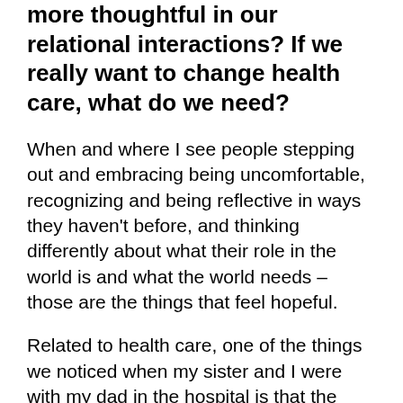more thoughtful in our relational interactions? If we really want to change health care, what do we need?
When and where I see people stepping out and embracing being uncomfortable, recognizing and being reflective in ways they haven't before, and thinking differently about what their role in the world is and what the world needs – those are the things that feel hopeful.
Related to health care, one of the things we noticed when my sister and I were with my dad in the hospital is that the doctors clearly had all had the same training and at the end of